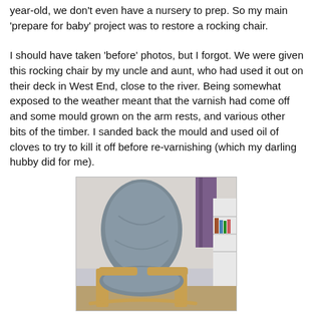year-old, we don't even have a nursery to prep. So my main 'prepare for baby' project was to restore a rocking chair.
I should have taken 'before' photos, but I forgot. We were given this rocking chair by my uncle and aunt, who had used it out on their deck in West End, close to the river. Being somewhat exposed to the weather meant that the varnish had come off and some mould grown on the arm rests, and various other bits of the timber. I sanded back the mould and used oil of cloves to try to kill it off before re-varnishing (which my darling hubby did for me).
[Figure (photo): Photo of a rocking chair with a grey cushioned seat and back, wooden arms visible at the bottom, set in a room with a purple curtain and white shelving unit in the background.]